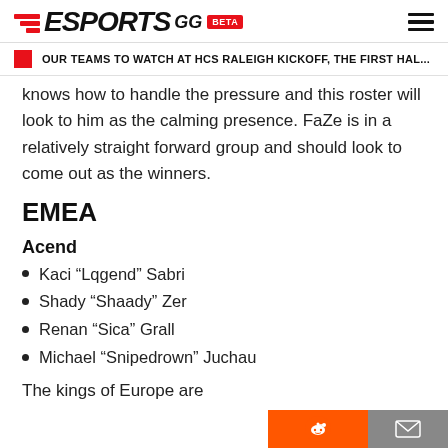ESPORTS GG BETA
OUR TEAMS TO WATCH AT HCS RALEIGH KICKOFF, THE FIRST HAL...
knows how to handle the pressure and this roster will look to him as the calming presence. FaZe is in a relatively straight forward group and should look to come out as the winners.
EMEA
Acend
Kaci “Lqgend” Sabri
Shady “Shaady” Zer
Renan “Sica” Grall
Michael “Snipedrown” Juchau
The kings of Europe are